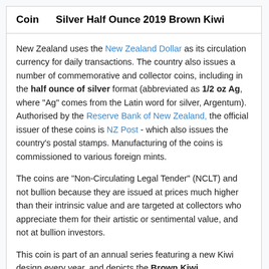Coin    Silver Half Ounce 2019 Brown Kiwi
New Zealand uses the New Zealand Dollar as its circulation currency for daily transactions. The country also issues a number of commemorative and collector coins, including in the half ounce of silver format (abbreviated as 1/2 oz Ag, where "Ag" comes from the Latin word for silver, Argentum). Authorised by the Reserve Bank of New Zealand, the official issuer of these coins is NZ Post - which also issues the country's postal stamps. Manufacturing of the coins is commissioned to various foreign mints.
The coins are "Non-Circulating Legal Tender" (NCLT) and not bullion because they are issued at prices much higher than their intrinsic value and are targeted at collectors who appreciate them for their artistic or sentimental value, and not at bullion investors.
This coin is part of an annual series featuring a new Kiwi design every year, and depicts the Brown Kiwi